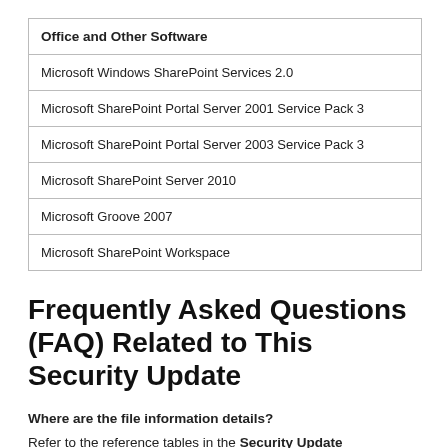| Office and Other Software |
| --- |
| Microsoft Windows SharePoint Services 2.0 |
| Microsoft SharePoint Portal Server 2001 Service Pack 3 |
| Microsoft SharePoint Portal Server 2003 Service Pack 3 |
| Microsoft SharePoint Server 2010 |
| Microsoft Groove 2007 |
| Microsoft SharePoint Workspace |
Frequently Asked Questions (FAQ) Related to This Security Update
Where are the file information details?
Refer to the reference tables in the Security Update